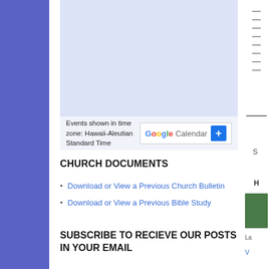[Figure (screenshot): Google Calendar embedded widget showing a light blue/lavender calendar area with 'Events shown in time zone: Hawaii-Aleutian Standard Time' and Google Calendar branding with a blue + button]
CHURCH DOCUMENTS
Download or View a Previous Church Bulletin
Download or View a Previous Bible Study
SUBSCRIBE TO RECIEVE OUR POSTS IN YOUR EMAIL